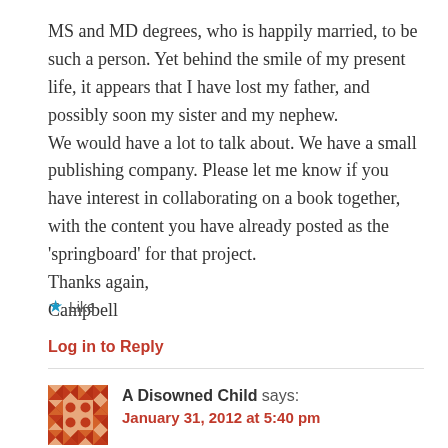MS and MD degrees, who is happily married, to be such a person. Yet behind the smile of my present life, it appears that I have lost my father, and possibly soon my sister and my nephew.
We would have a lot to talk about. We have a small publishing company. Please let me know if you have interest in collaborating on a book together, with the content you have already posted as the 'springboard' for that project.
Thanks again,
Campbell
Like
Log in to Reply
A Disowned Child says:
January 31, 2012 at 5:40 pm